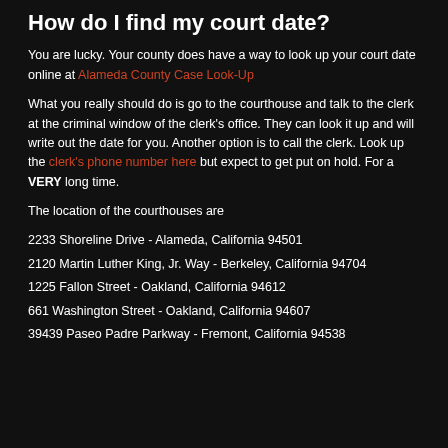How do I find my court date?
You are lucky. Your county does have a way to look up your court date online at Alameda County Case Look-Up
What you really should do is go to the courthouse and talk to the clerk at the criminal window of the clerk's office. They can look it up and will write out the date for you. Another option is to call the clerk. Look up the clerk's phone number here but expect to get put on hold. For a VERY long time.
The location of the courthouses are
2233 Shoreline Drive - Alameda, California 94501
2120 Martin Luther King, Jr. Way - Berkeley, California 94704
1225 Fallon Street - Oakland, California 94612
661 Washington Street - Oakland, California 94607
39439 Paseo Padre Parkway - Fremont, California 94538